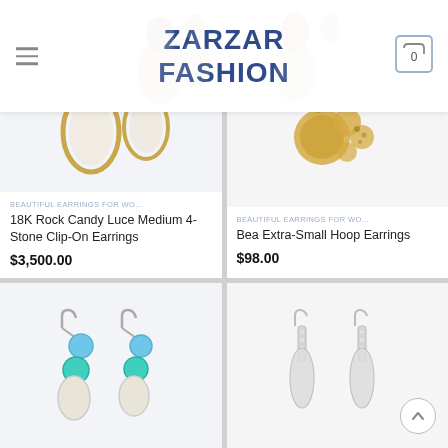ZARZAR FASHION
[Figure (photo): Product image of 18K Rock Candy Luce Medium 4-Stone Clip-On Earrings - gold oval pearl earrings]
BEAUTIFUL EARRINGS FOR WO...
18K Rock Candy Luce Medium 4-Stone Clip-On Earrings
$3,500.00
[Figure (photo): Product image of Bea Extra-Small Hoop Earrings - gold stud hoop earrings]
BEAUTIFUL EARRINGS FOR WO...
Bea Extra-Small Hoop Earrings
$98.00
[Figure (photo): Product image of earrings with blue topaz and turquoise stones on silver hooks]
[Figure (photo): Product image of crystal drop earrings on silver hooks]